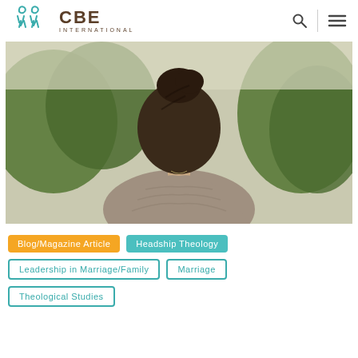CBE International
[Figure (photo): Back view of a woman with dark hair in a bun, wearing a gray t-shirt, standing outdoors with green foliage in the background.]
Blog/Magazine Article
Headship Theology
Leadership in Marriage/Family
Marriage
Theological Studies